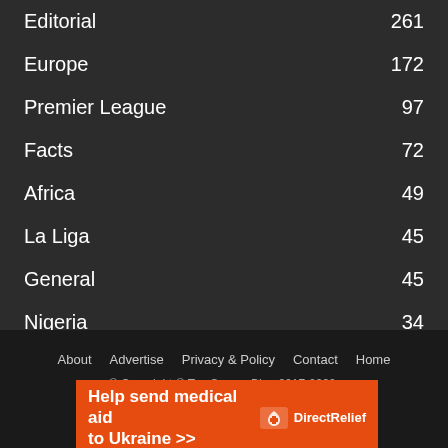Editorial  261
Europe  172
Premier League  97
Facts  72
Africa  49
La Liga  45
General  45
Nigeria  34
About   Advertise   Privacy & Policy   Contact   Home
© Copyright © Top Soccer Blog 2017-2022.
[Figure (infographic): Orange advertisement banner for Direct Relief: 'Help send medical aid to Ukraine >>' with Direct Relief logo]